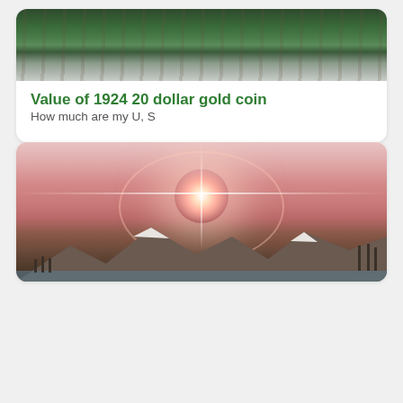[Figure (photo): Partial view of a forest/waterfall landscape photo at the top of first card (cropped at top)]
Value of 1924 20 dollar gold coin
How much are my U, S
[Figure (photo): A scenic photo of a sun halo / sun dog phenomenon over a snowy mountain lake landscape with pink sky]